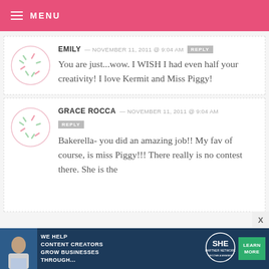MENU
EMILY — NOVEMBER 11, 2011 @ 9:04 AM  REPLY
You are just...wow. I WISH I had even half your creativity! I love Kermit and Miss Piggy!
GRACE ROCCA — NOVEMBER 11, 2011 @ 9:04 AM  REPLY
Bakerella- you did an amazing job!! My fav of course, is miss Piggy!!! There really is no contest there. She is the
[Figure (infographic): SHE Partner Network advertisement banner: woman with laptop, text 'WE HELP CONTENT CREATORS GROW BUSINESSES THROUGH...', SHE logo, and 'LEARN MORE' button]